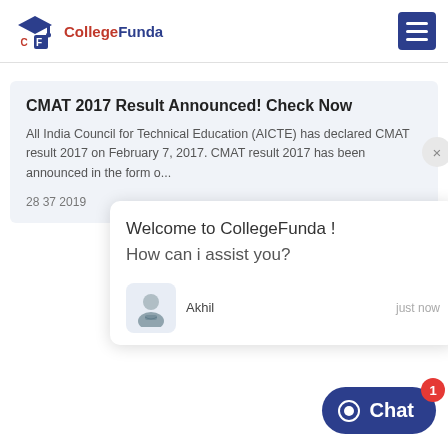[Figure (logo): CollegeFunda logo with graduation cap icon and CF letters]
[Figure (other): Hamburger menu icon (three horizontal lines) on dark navy background]
CMAT 2017 Result Announced! Check Now
All India Council for Technical Education (AICTE) has declared CMAT result 2017 on February 7, 2017. CMAT result 2017 has been announced in the form o...
28 37 2019
Welcome to CollegeFunda !
How can i assist you?
Akhil
just now
[Figure (other): Chat button with circle/bubble icon and badge showing 1]